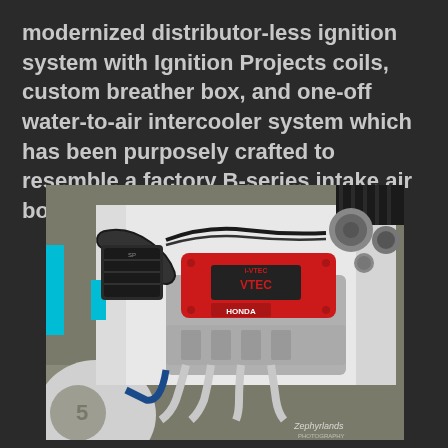modernized distributor-less ignition system with Ignition Projects coils, custom breather box, and one-off water-to-air intercooler system which has been purposely crafted to resemble a factory B-series intake air box…
[Figure (photo): Engine bay of a modified Honda vehicle showing a red Honda VTEC engine cover, custom intake piping, white engine bay, and various engine components. A photographer's watermark/signature is visible in the lower right corner.]